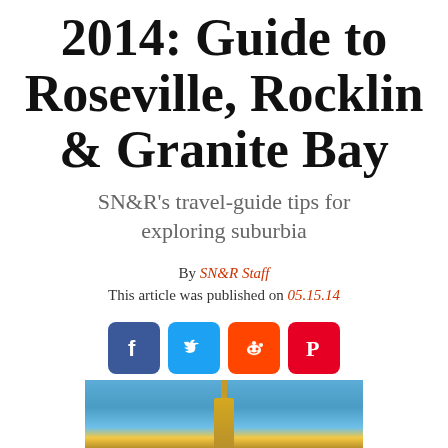2014: Guide to Roseville, Rocklin & Granite Bay
SN&R's travel-guide tips for exploring suburbia
By SN&R Staff
This article was published on 05.15.14
[Figure (infographic): Row of four social media share buttons: Facebook (blue), Twitter (light blue), Reddit (orange), Pinterest (red)]
[Figure (photo): Partial photo of a building or tower against a blue sky, cropped at bottom of page]